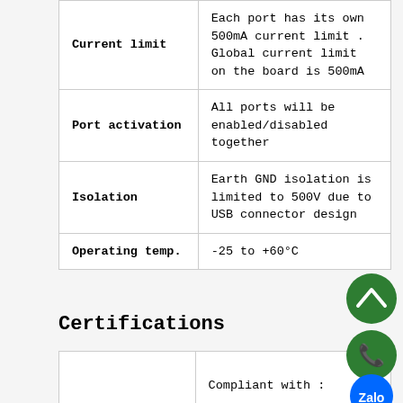| Feature | Description |
| --- | --- |
| Current limit | Each port has its own 500mA current limit . Global current limit on the board is 500mA |
| Port activation | All ports will be enabled/disabled together |
| Isolation | Earth GND isolation is limited to 500V due to USB connector design |
| Operating temp. | -25 to +60°C |
Certifications
|  |  |
| --- | --- |
|  | Compliant with : |